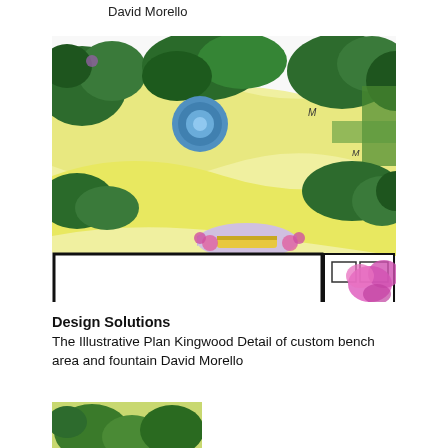David Morello
[Figure (illustration): Illustrative landscape plan showing a garden design with green shrubs, yellow gravel/paving areas, a circular blue fountain in the center-left, a semicircular bench area with pink flowers and a yellow bench at center-bottom, black-outlined building footprint at bottom, and pink flowering plants at bottom-right. Hand-colored architectural plan view.]
Design Solutions
The Illustrative Plan Kingwood Detail of custom bench area and fountain David Morello
[Figure (illustration): Partial view of a green landscape illustration at the bottom of the page, cropped.]